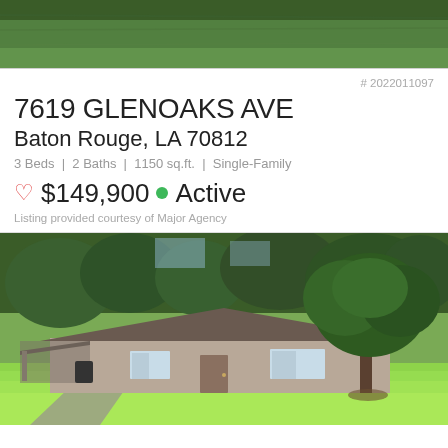[Figure (photo): Top aerial/landscape photo showing green grass field]
# 2022011097
7619 GLENOAKS AVE
Baton Rouge, LA 70812
3 Beds | 2 Baths | 1150 sq.ft. | Single-Family
♡ $149,900 • Active
Listing provided courtesy of Major Agency
[Figure (photo): Exterior photo of single-family brick ranch home with large oak tree, carport, and green lawn]